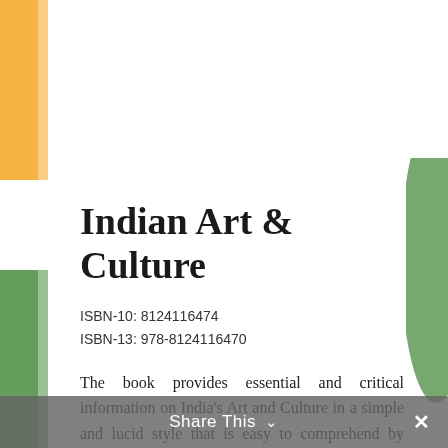[Figure (illustration): Indian flag decorative strip on the left side — saffron/orange at top, white in middle, green at bottom]
[Figure (illustration): Indian flag decorative element on the right side — green color blending]
Indian Art & Culture
ISBN-10: 8124116474
ISBN-13: 978-8124116470
The book provides essential and critical information on India's Art and Culture in a simple and lucid style that is easy to comprehend by Indians and non-Indians alike. It covers diverse topics like architecture, music, dance, theater, cinema, painting, religions, fairs and festivals, arts and crafts, language and literature and tribes of India.
Share This ∨  ×